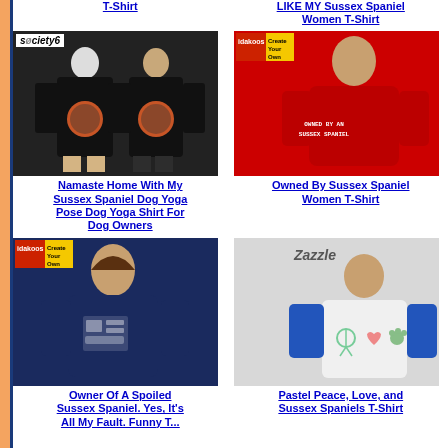T-Shirt
LIKE MY Sussex Spaniel Women T-Shirt
[Figure (photo): Society6 branded black t-shirt with Sussex Spaniel dog graphic shown from back, two models]
[Figure (photo): Idakoos red women t-shirt with 'Owned By An Sussex Spaniel' text]
Namaste Home With My Sussex Spaniel Dog Yoga Pose Dog Yoga Shirt For Dog Owners
Owned By Sussex Spaniel Women T-Shirt
[Figure (photo): Idakoos navy blue women t-shirt with Sussex Spaniel graphic]
[Figure (photo): Zazzle white and blue raglan t-shirt with pastel peace love Sussex Spaniels graphic]
Owner Of A Spoiled Sussex Spaniel. Yes, It's All My Fault. Funny T...
Pastel Peace, Love, and Sussex Spaniels T-Shirt